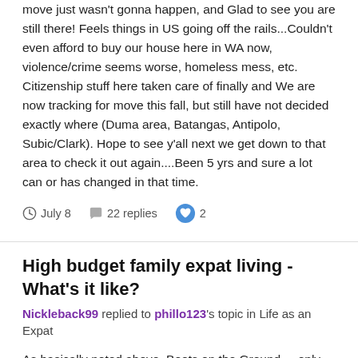move just wasn't gonna happen, and Glad to see you are still there! Feels things in US going off the rails...Couldn't even afford to buy our house here in WA now, violence/crime seems worse, homeless mess, etc. Citizenship stuff here taken care of finally and We are now tracking for move this fall, but still have not decided exactly where (Duma area, Batangas, Antipolo, Subic/Clark). Hope to see y'all next we get down to that area to check it out again....Been 5 yrs and sure a lot can or has changed in that time.
July 8  22 replies  2
High budget family expat living - What's it like?
Nickleback99 replied to phillo123's topic in Life as an Expat
As basically noted above, Boots on the Ground.....only then will you know. Also, you did not say if your wife is Filipina or not. That will determine how you and rest of family enter and remain in the Philippines, which if no Filipina wife, certainly won't make life easier, but then again if goes back to normal post pandemic, the immigration rules are certainly more friendly than Thailand, but medical and more modern everything in Thailand. In the end, "you don't know what you don't know" and probably going to take good